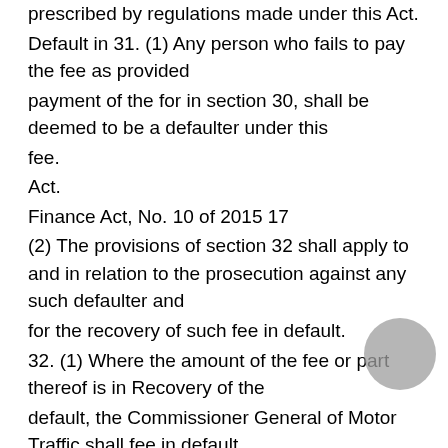implementation of the provisions of this Part shall be prescribed by regulations made under this Act.
Default in 31. (1) Any person who fails to pay the fee as provided
payment of the for in section 30, shall be deemed to be a defaulter under this
fee.
Act.
Finance Act, No. 10 of 2015 17
(2) The provisions of section 32 shall apply to and in relation to the prosecution against any such defaulter and
for the recovery of such fee in default.
32. (1) Where the amount of the fee or part thereof is in Recovery of the
default, the Commissioner General of Motor Traffic shall fee in default.
issue a certificate containing particulars of the